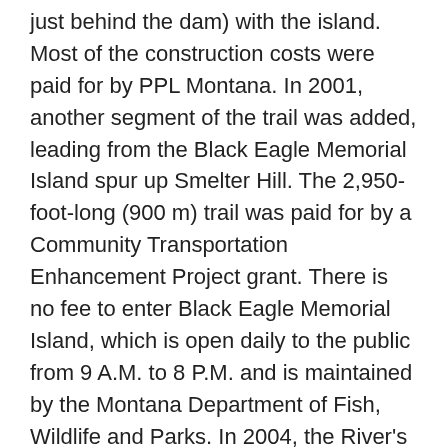just behind the dam) with the island. Most of the construction costs were paid for by PPL Montana. In 2001, another segment of the trail was added, leading from the Black Eagle Memorial Island spur up Smelter Hill. The 2,950-foot-long (900 m) trail was paid for by a Community Transportation Enhancement Project grant. There is no fee to enter Black Eagle Memorial Island, which is open daily to the public from 9 A.M. to 8 P.M. and is maintained by the Montana Department of Fish, Wildlife and Parks. In 2004, the River's Edge Trail was extended along the north bank of the Missouri River from the Black Eagle Dam powerhouse westward about 1.3 miles (2.1 km) to the 15th Street Bridge. About $175,000 of the $204,500 cost of the extension was paid for by the Community Transportation Enhancement Program, and the remainder by the Montana Air Congestion Initiative (a state program), the American Public Land Exchange (a nonprofit organization), and Recreational Trails (a nonprofit which